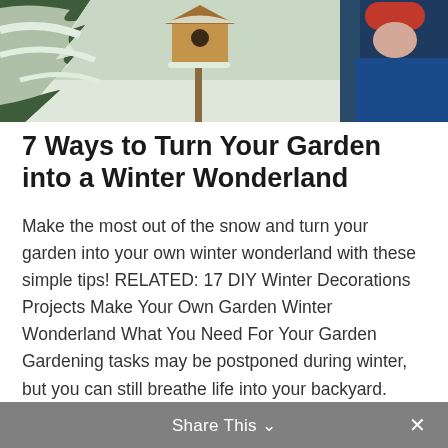[Figure (photo): A winter outdoor scene showing snow-covered evergreen trees with a wooden birdhouse hanging among them, and a person wearing a red hat and blue coat visible on the right side.]
7 Ways to Turn Your Garden into a Winter Wonderland
Make the most out of the snow and turn your garden into your own winter wonderland with these simple tips! RELATED: 17 DIY Winter Decorations Projects Make Your Own Garden Winter Wonderland What You Need For Your Garden Gardening tasks may be postponed during winter, but you can still breathe life into your backyard. Even after… Continue Reading
Share This ∨  ✕